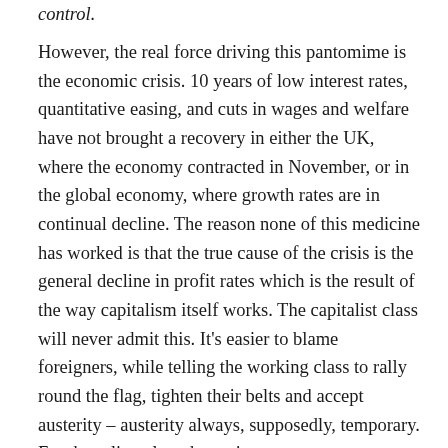control.
However, the real force driving this pantomime is the economic crisis. 10 years of low interest rates, quantitative easing, and cuts in wages and welfare have not brought a recovery in either the UK, where the economy contracted in November, or in the global economy, where growth rates are in continual decline. The reason none of this medicine has worked is that the true cause of the crisis is the general decline in profit rates which is the result of the way capitalism itself works. The capitalist class will never admit this. It's easier to blame foreigners, while telling the working class to rally round the flag, tighten their belts and accept austerity – austerity always, supposedly, temporary. For the ruling class the easiest way to restore profits is to increase the rate of exploitation of the working class. That is the thread which links all the